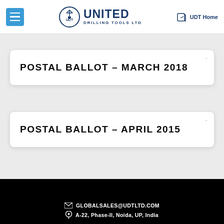United Drilling Tools Ltd — UDT Home
POSTAL BALLOT – MARCH 2018
POSTAL BALLOT – APRIL 2015
GLOBALSALES@UDTLTD.COM | A-22, Phase-II, Noida, UP, India